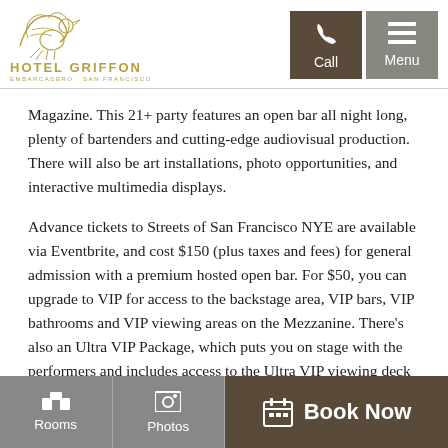[Figure (logo): Hotel Griffon logo with bird and gold text. HOTEL GRIFFON, EMBARCADERO · SAN FRANCISCO]
Magazine. This 21+ party features an open bar all night long, plenty of bartenders and cutting-edge audiovisual production. There will also be art installations, photo opportunities, and interactive multimedia displays.
Advance tickets to Streets of San Francisco NYE are available via Eventbrite, and cost $150 (plus taxes and fees) for general admission with a premium hosted open bar. For $50, you can upgrade to VIP for access to the backstage area, VIP bars, VIP bathrooms and VIP viewing areas on the Mezzanine. There's also an Ultra VIP Package, which puts you on stage with the performers and includes access to the Ultra VIP viewing deck with private Champagne bar. It all goes
Rooms   Photos   Book Now